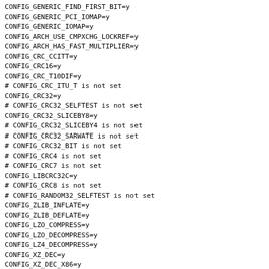CONFIG_GENERIC_FIND_FIRST_BIT=y
CONFIG_GENERIC_PCI_IOMAP=y
CONFIG_GENERIC_IOMAP=y
CONFIG_ARCH_USE_CMPXCHG_LOCKREF=y
CONFIG_ARCH_HAS_FAST_MULTIPLIER=y
CONFIG_CRC_CCITT=y
CONFIG_CRC16=y
CONFIG_CRC_T10DIF=y
# CONFIG_CRC_ITU_T is not set
CONFIG_CRC32=y
# CONFIG_CRC32_SELFTEST is not set
CONFIG_CRC32_SLICEBY8=y
# CONFIG_CRC32_SLICEBY4 is not set
# CONFIG_CRC32_SARWATE is not set
# CONFIG_CRC32_BIT is not set
# CONFIG_CRC4 is not set
# CONFIG_CRC7 is not set
CONFIG_LIBCRC32C=y
# CONFIG_CRC8 is not set
# CONFIG_RANDOM32_SELFTEST is not set
CONFIG_ZLIB_INFLATE=y
CONFIG_ZLIB_DEFLATE=y
CONFIG_LZO_COMPRESS=y
CONFIG_LZO_DECOMPRESS=y
CONFIG_LZ4_DECOMPRESS=y
CONFIG_XZ_DEC=y
CONFIG_XZ_DEC_X86=y
CONFIG_XZ_DEC_POWERPC=y
CONFIG_XZ_DEC_IA64=y
CONFIG_XZ_DEC_ARM=y
CONFIG_XZ_DEC_ARMTHUMB...